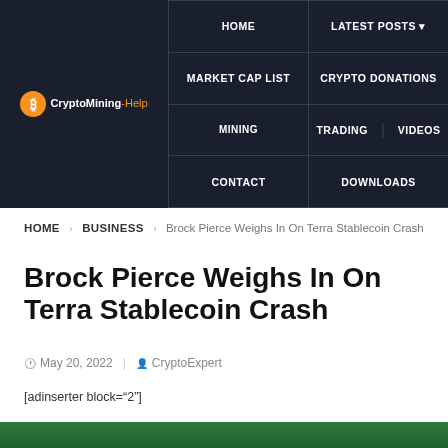CryptoMining-Help | HOME | LATEST POSTS | MARKET CAP LIST | CRYPTO DONATIONS | MINING | TRADING | VIDEOS | CONTACT | DOWNLOADS
HOME › BUSINESS › Brock Pierce Weighs In On Terra Stablecoin Crash
Brock Pierce Weighs In On Terra Stablecoin Crash
May 20, 2022  CryptoExpert
[adinserter block="2"]
[Figure (photo): Green-tinted image at bottom of page (partially visible)]